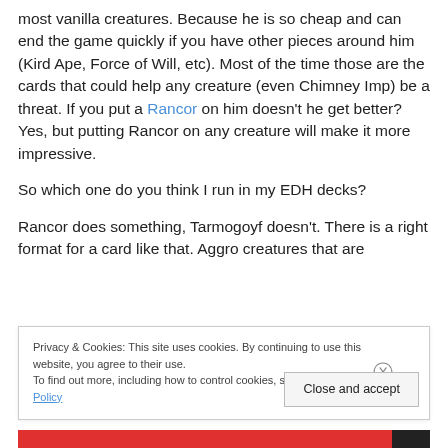most vanilla creatures. Because he is so cheap and can end the game quickly if you have other pieces around him (Kird Ape, Force of Will, etc). Most of the time those are the cards that could help any creature (even Chimney Imp) be a threat. If you put a Rancor on him doesn't he get better? Yes, but putting Rancor on any creature will make it more impressive.
So which one do you think I run in my EDH decks?
Rancor does something, Tarmogoyf doesn't. There is a right format for a card like that. Aggro creatures that are
Privacy & Cookies: This site uses cookies. By continuing to use this website, you agree to their use.
To find out more, including how to control cookies, see here: Cookie Policy